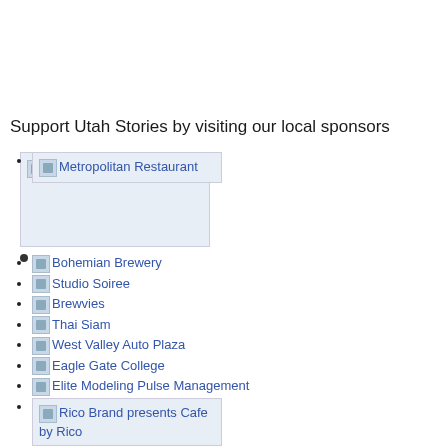Support Utah Stories by visiting our local sponsors
Metropolitan Restaurant
Bohemian Brewery
Studio Soiree
Brewvies
Thai Siam
West Valley Auto Plaza
Eagle Gate College
Elite Modeling Pulse Management
Rico Brand presents Cafe by Rico
xmission hosting and ISP